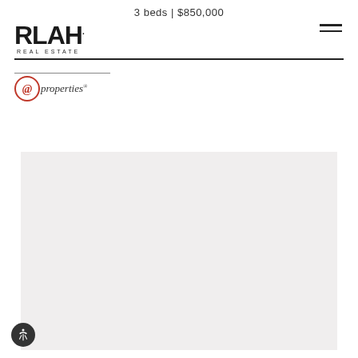3 beds | $850,000
[Figure (logo): RLAH Real Estate logo in bold black text with 'REAL ESTATE' in small caps beneath]
[Figure (logo): @properties logo with red circular @ symbol and italic 'properties' text]
[Figure (photo): Large light gray placeholder image area for property photo]